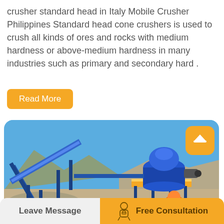crusher standard head in Italy Mobile Crusher Philippines Standard head cone crushers is used to crush all kinds of ores and rocks with medium hardness or above-medium hardness in many industries such as primary and secondary hard .
Read More
[Figure (photo): Outdoor photo of a large blue mobile cone crusher and conveyor belt system set against a rocky hillside under a clear blue sky, with an orange-jacketed worker visible in the foreground.]
Leave Message   Free Consultation